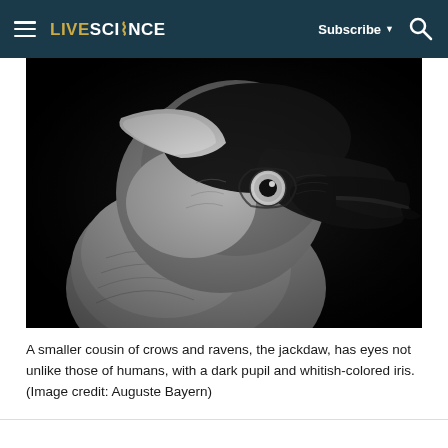LIVESCIENCE  Subscribe  🔍
[Figure (photo): Close-up portrait of a jackdaw bird against a dark background. The bird has distinctive grey and black plumage, with a black cap on its head and grey feathers on its body. It has a striking eye with a dark pupil and whitish-colored iris, resembling a human eye. The bird's dark beak is visible on the right side of the image.]
A smaller cousin of crows and ravens, the jackdaw, has eyes not unlike those of humans, with a dark pupil and whitish-colored iris. (Image credit: Auguste Bayern)